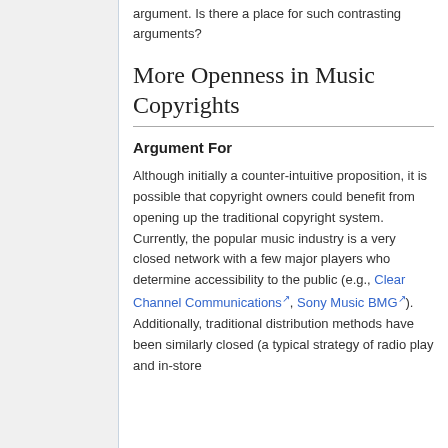argument. Is there a place for such contrasting arguments?
More Openness in Music Copyrights
Argument For
Although initially a counter-intuitive proposition, it is possible that copyright owners could benefit from opening up the traditional copyright system. Currently, the popular music industry is a very closed network with a few major players who determine accessibility to the public (e.g., Clear Channel Communications, Sony Music BMG). Additionally, traditional distribution methods have been similarly closed (a typical strategy of radio play and in-store